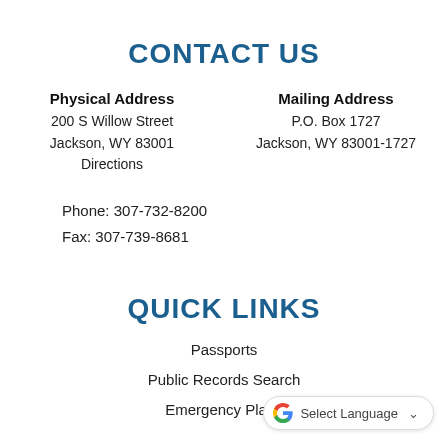CONTACT US
Physical Address
200 S Willow Street
Jackson, WY 83001
Directions
Mailing Address
P.O. Box 1727
Jackson, WY 83001-1727
Phone: 307-732-8200
Fax: 307-739-8681
QUICK LINKS
Passports
Public Records Search
Emergency Plans